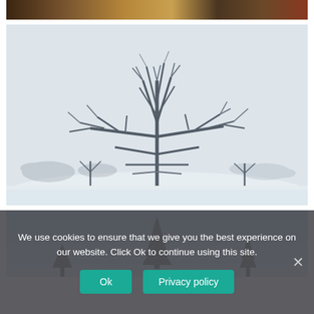[Figure (photo): Cropped top portion of an indoor photo with warm brown tones, partially visible]
[Figure (photo): Winter landscape photograph showing a bare tree covered in snow/frost against a white misty background with snow-covered ground]
[Figure (photo): Outdoor winter photo showing evergreen/pine trees against a blue sky gradient, partially visible]
We use cookies to ensure that we give you the best experience on our website. Click Ok to continue using this site.